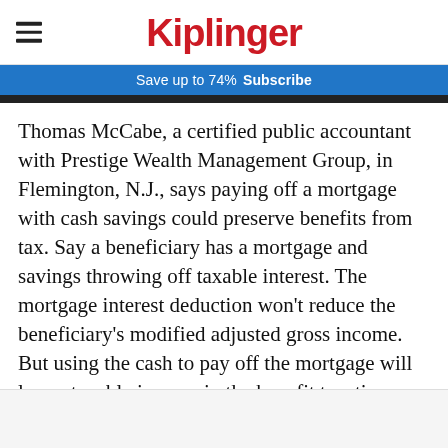Kiplinger
Save up to 74%  Subscribe
Thomas McCabe, a certified public accountant with Prestige Wealth Management Group, in Flemington, N.J., says paying off a mortgage with cash savings could preserve benefits from tax. Say a beneficiary has a mortgage and savings throwing off taxable interest. The mortgage interest deduction won't reduce the beneficiary's modified adjusted gross income. But using the cash to pay off the mortgage will lower taxable income in the benefit taxation calculation, McCabe says.